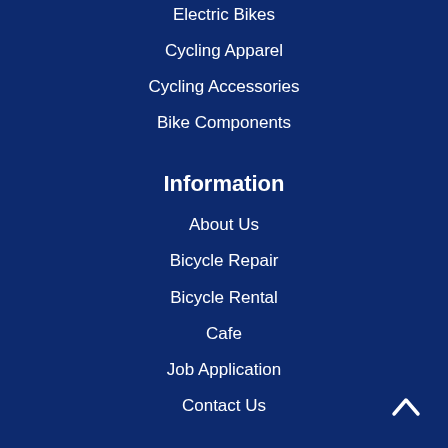Electric Bikes
Cycling Apparel
Cycling Accessories
Bike Components
Information
About Us
Bicycle Repair
Bicycle Rental
Cafe
Job Application
Contact Us